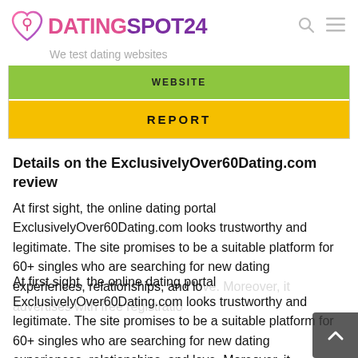DATINGSPOT24 - We test dating websites
[Figure (screenshot): Green button (partially visible, truncated at top) and yellow REPORT button inside a bordered box]
Details on the ExclusivelyOver60Dating.com review
At first sight, the online dating portal ExclusivelyOver60Dating.com looks trustworthy and legitimate. The site promises to be a suitable platform for 60+ singles who are searching for new dating experiences, relationships, and love. Moreover, it advertises with free registration and a dedicated customer support team. As always, we